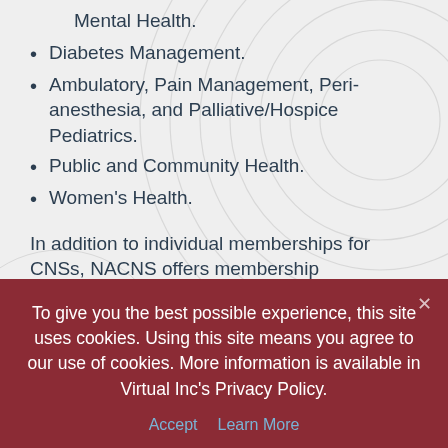Mental Health.
Diabetes Management.
Ambulatory, Pain Management, Peri-anesthesia, and Palliative/Hospice Pediatrics.
Public and Community Health.
Women's Health.
In addition to individual memberships for CNSs, NACNS offers membership
To give you the best possible experience, this site uses cookies. Using this site means you agree to our use of cookies. More information is available in Virtual Inc's Privacy Policy.